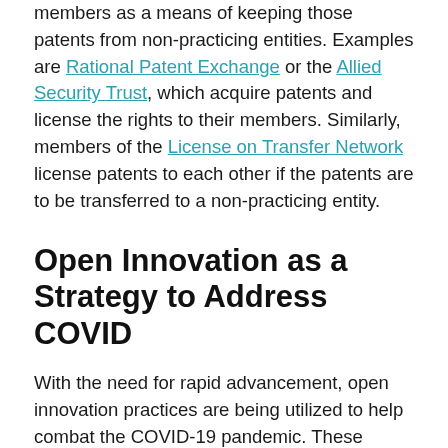members as a means of keeping those patents from non-practicing entities. Examples are Rational Patent Exchange or the Allied Security Trust, which acquire patents and license the rights to their members. Similarly, members of the License on Transfer Network license patents to each other if the patents are to be transferred to a non-practicing entity.
Open Innovation as a Strategy to Address COVID
With the need for rapid advancement, open innovation practices are being utilized to help combat the COVID-19 pandemic. These initiatives